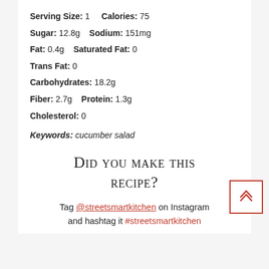Serving Size: 1    Calories: 75
Sugar: 12.8g    Sodium: 151mg
Fat: 0.4g    Saturated Fat: 0
Trans Fat: 0
Carbohydrates: 18.2g
Fiber: 2.7g    Protein: 1.3g
Cholesterol: 0
Keywords: cucumber salad
Did you make this recipe?
Tag @streetsmartkitchen on Instagram and hashtag it #streetsmartkitchen